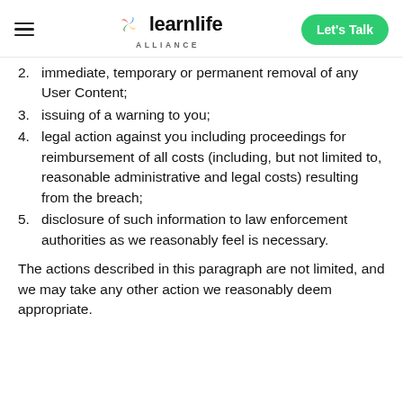learnlife ALLIANCE | Let's Talk
2. immediate, temporary or permanent removal of any User Content;
3. issuing of a warning to you;
4. legal action against you including proceedings for reimbursement of all costs (including, but not limited to, reasonable administrative and legal costs) resulting from the breach;
5. disclosure of such information to law enforcement authorities as we reasonably feel is necessary.
The actions described in this paragraph are not limited, and we may take any other action we reasonably deem appropriate.